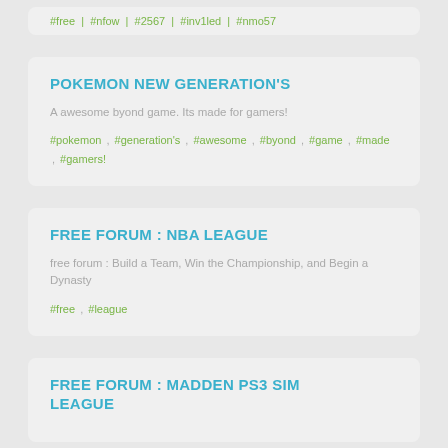#free | #nfow | #2567 | #inv1led | #nmo57
POKEMON NEW GENERATION'S
A awesome byond game. Its made for gamers!
#pokemon , #generation's , #awesome , #byond , #game , #made , #gamers!
FREE FORUM : NBA LEAGUE
free forum : Build a Team, Win the Championship, and Begin a Dynasty
#free , #league
FREE FORUM : MADDEN PS3 SIM LEAGUE